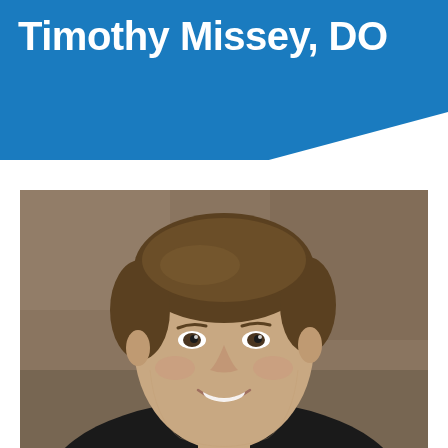Timothy Missey, DO
[Figure (photo): Professional headshot of Timothy Missey, DO — a middle-aged man with brown hair, smiling, wearing a dark suit jacket, photographed against a warm brown/tan blurred background.]